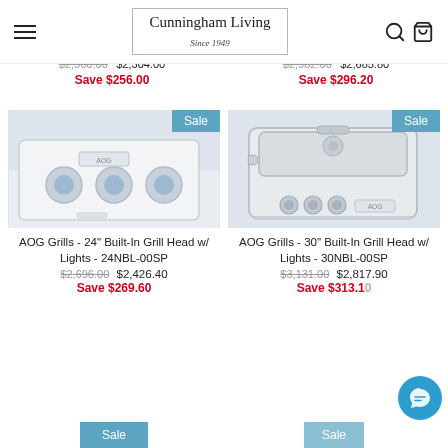Cunningham Living Since 1949
$2,560.00  $2,304.00  Save $256.00  |  $2,982.00  $2,685.80  Save $296.20
[Figure (photo): Close-up of AOG grill control knobs, white grill body, blue illuminated knobs. Sale badge top right.]
[Figure (photo): AOG 30-inch built-in grill head, stainless steel, front view showing lid and burner knobs. Sale badge top right.]
AOG Grills - 24" Built-In Grill Head w/ Lights - 24NBL-00SP
$2,696.00  $2,426.40  Save $269.60
AOG Grills - 30" Built-In Grill Head w/ Lights - 30NBL-00SP
$3,131.00  $2,817.90  Save $313.10
[Figure (other): Sale badge bottom left column]
[Figure (other): Sale badge bottom right column (partially obscured by chat bubble)]